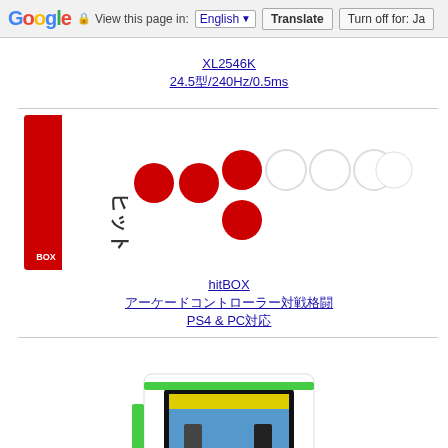Google  View this page in: English [▼]  Translate  Turn off for: Ja
XL2546K
24.5型/240Hz/0.5ms
[Figure (photo): HitBox arcade controller — white rectangular panel with red and white buttons arranged in fighting game layout, red HitBOX logo on left side]
hitBOX
アーケードコントローラー対戦格闘
PS4 & PC対応
[Figure (photo): Mini arcade cabinet — white tabletop unit with green joystick and green buttons, black screen displaying a fighting game, colorful side art]
アストロシティミニ